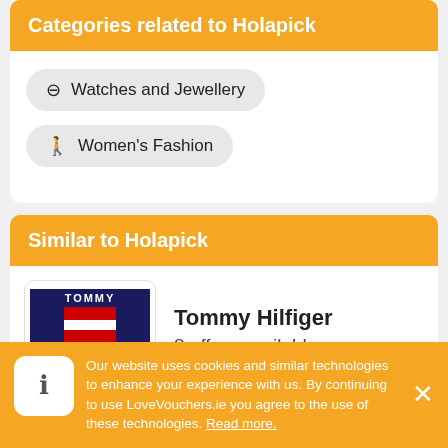Categories related to Holapick
Watches and Jewellery
Women's Fashion
Similar to Holapick
[Figure (logo): Tommy Hilfiger logo — blue navy background with red square and white horizontal stripe, text TOMMY above and HILFIGER below]
Tommy Hilfiger
8 offers available
[Figure (logo): In The Style logo — text IN THE STYLE in grey on white background]
In The Style
Our website uses cookies and similar technologies to enhance your experience with us. By continuing to use LoveVouchers.ie you agree to the use of these technologies. Read more.